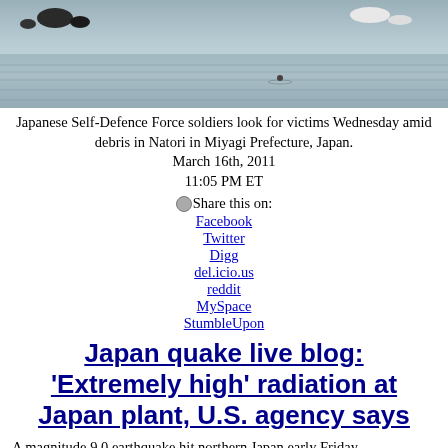[Figure (photo): Japanese Self-Defence Force soldiers looking for victims amid debris, water scene with reflections]
Japanese Self-Defence Force soldiers look for victims Wednesday amid debris in Natori in Miyagi Prefecture, Japan.
March 16th, 2011
11:05 PM ET
Share this on:
Facebook
Twitter
Digg
del.icio.us
reddit
MySpace
StumbleUpon
Japan quake live blog: 'Extremely high' radiation at Japan plant, U.S. agency says
A magnitude 9.0 earthquake hit northern Japan early Friday,